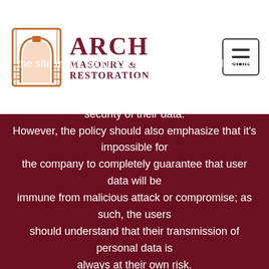[Figure (logo): Arch Masonry & Restoration logo with orange arch illustration and dark red serif text]
the site might not function if you delete or disable cookies. We will use necessary measures to protect the security of their data. However, the policy should also emphasize that it's impossible for the company to completely guarantee that user data will be immune from malicious attack or compromise; as such, the users should understand that their transmission of personal data is always at their own risk. User information will be subject to the laws of the United States of America, regardless of the country from which their data originates.
This website uses cookies to provide you with the best browsing experience. Find out more or adjust your settings. Cookie settings
ACCEPT